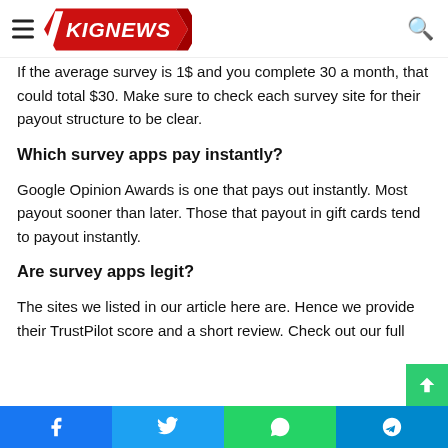KIGNEWS
If the average survey is 1$ and you complete 30 a month, that could total $30. Make sure to check each survey site for their payout structure to be clear.
Which survey apps pay instantly?
Google Opinion Awards is one that pays out instantly. Most payout sooner than later. Those that payout in gift cards tend to payout instantly.
Are survey apps legit?
The sites we listed in our article here are. Hence we provide their TrustPilot score and a short review. Check out our full
Facebook Twitter WhatsApp Telegram